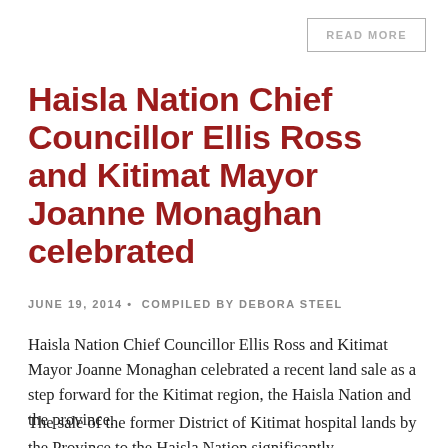READ MORE
Haisla Nation Chief Councillor Ellis Ross and Kitimat Mayor Joanne Monaghan celebrated
JUNE 19, 2014 • COMPILED BY DEBORA STEEL
Haisla Nation Chief Councillor Ellis Ross and Kitimat Mayor Joanne Monaghan celebrated a recent land sale as a step forward for the Kitimat region, the Haisla Nation and the province.
The sale of the former District of Kitimat hospital lands by the Province to the Haisla Nation significantly